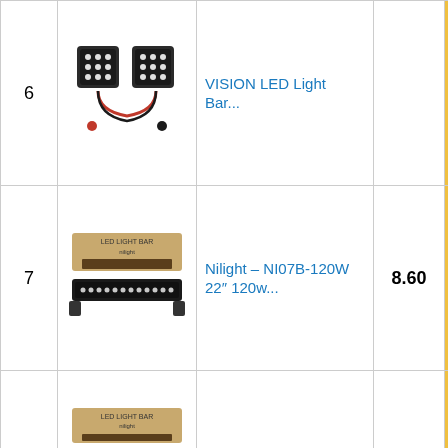| # | Image | Product | Score | Buy |
| --- | --- | --- | --- | --- |
| 6 | [image] | VISION LED Light Bar... |  | Bu... Am... |
| 7 | [image] | Nilight – NI07B-120W 22″ 120w... | 8.60 | Bu... Am... |
| 8 | [image] | Nilight ZH017 22Inch 120W Spot... | 9.00 | Bu... Am... |
| 9 | [image] | Nilight 18040C A... | 8.00 | Bu... Am... |